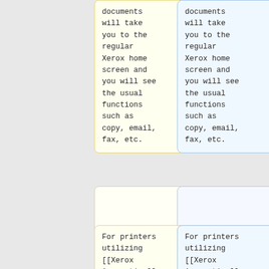documents will take you to the regular Xerox home screen and you will see the usual functions such as copy, email, fax, etc.
documents will take you to the regular Xerox home screen and you will see the usual functions such as copy, email, fax, etc.
For printers utilizing [[Xerox Accounting]] codes, please see the [[Xerox
For printers utilizing [[Xerox Accounting]] codes, please see the [[Xerox